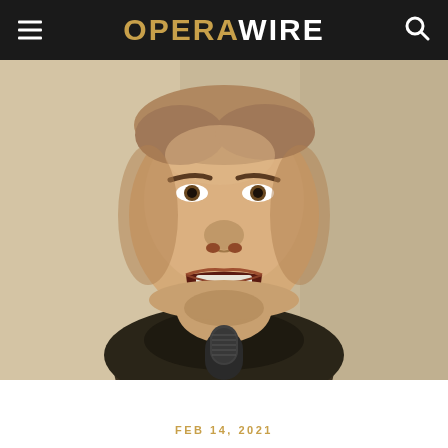OPERAWIRE
[Figure (photo): Close-up photo of a male opera singer performing, mouth open wide, tilting head upward, with a microphone visible at the bottom. The singer is heavyset with short hair and a goatee, wearing a dark jacket.]
FEB 14, 2021